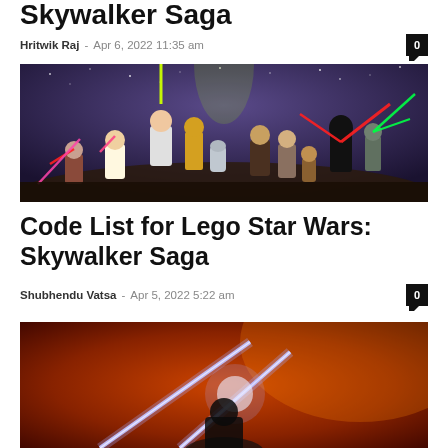Skywalker Saga
Hritwik Raj  -  Apr 6, 2022 11:35 am
[Figure (photo): LEGO Star Wars characters group photo with lightsabers against a dark purple starry sky background]
Code List for Lego Star Wars: Skywalker Saga
Shubhendu Vatsa  -  Apr 5, 2022 5:22 am
[Figure (photo): Star Wars lightsaber duel scene with orange/red tinted background]